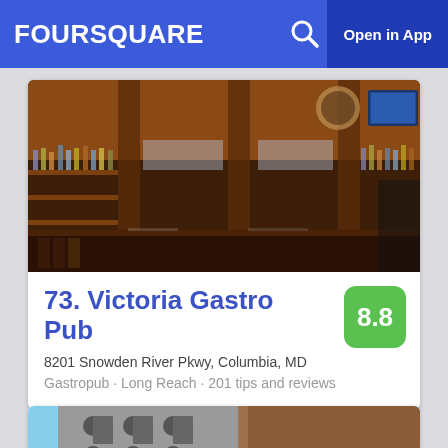FOURSQUARE  Open in App
[Figure (photo): Interior photo of a bar with shelves of liquor bottles, glassware, wooden pillars, and a TV in the background]
73. Victoria Gastro Pub
8.8
8201 Snowden River Pkwy, Columbia, MD
Gastropub · Long Reach · 201 tips and reviews
[Figure (photo): Exterior photo of a building shot from below against a blue sky, showing dark circular architectural details]